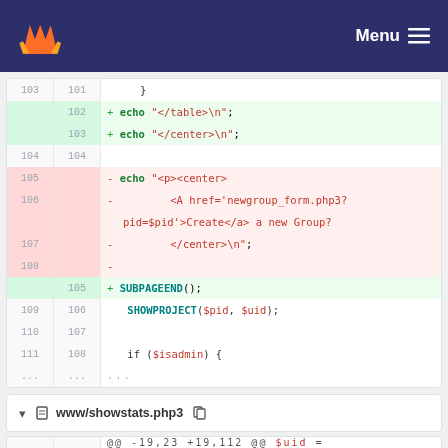GitLab — Menu
[Figure (screenshot): Git diff view showing PHP code changes. Lines 103-111 old, 101-108 new shown with additions in green and removals in red. Code includes echo statements, SUBPAGEEND(), SHOWPROJECT($pid, $uid), and if ($isadmin) {]
www/showstats.php3
| old | new | content |
| --- | --- | --- |
| ... | ... | @@ -19,23 +19,112 @@ $uid = GETLOGIN(); |
| 19 | 19 | LOGGEDINORDIE($uid); |